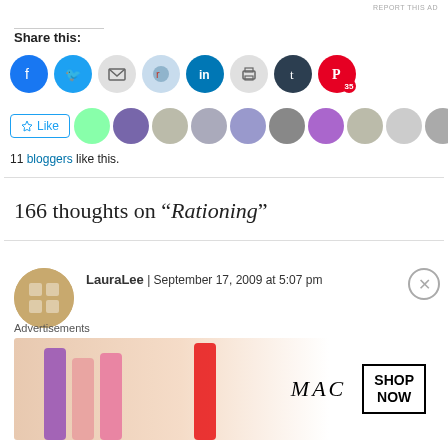REPORT THIS AD
Share this:
[Figure (infographic): Social sharing icons: Facebook, Twitter, Email, Reddit, LinkedIn, Print, Tumblr, Pinterest (35)]
[Figure (infographic): Like button and 11 blogger avatars]
11 bloggers like this.
166 thoughts on “Rationing”
LauraLee | September 17, 2009 at 5:07 pm
Advertisements
[Figure (photo): MAC cosmetics advertisement showing lipsticks with 'SHOP NOW' button]